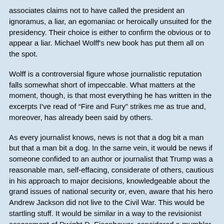associates claims not to have called the president an ignoramus, a liar, an egomaniac or heroically unsuited for the presidency. Their choice is either to confirm the obvious or to appear a liar. Michael Wolff's new book has put them all on the spot.
Wolff is a controversial figure whose journalistic reputation falls somewhat short of impeccable. What matters at the moment, though, is that most everything he has written in the excerpts I've read of “Fire and Fury” strikes me as true and, moreover, has already been said by others.
As every journalist knows, news is not that a dog bit a man but that a man bit a dog. In the same vein, it would be news if someone confided to an author or journalist that Trump was a reasonable man, self-effacing, considerate of others, cautious in his approach to major decisions, knowledgeable about the grand issues of national security or, even, aware that his hero Andrew Jackson did not live to the Civil War. This would be startling stuff. It would be similar in a way to the revisionist assessment of Dwight D. Eisenhower, considered a mumbler in his time, but understood now as a president who cleverly shielded his intentions by being purposely inarticulate. Maybe so.
From the White House and in the House of Lies known as the